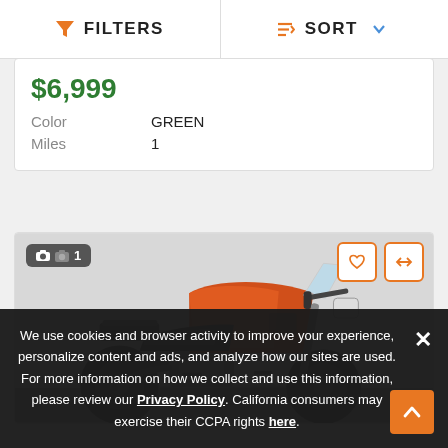FILTERS  SORT
$6,999
Color  GREEN
Miles  1
[Figure (photo): Orange Kawasaki KLR650 adventure/dual-sport motorcycle, side profile view, with windshield, luggage rack, and knobby tires. Image count badge showing '1' in top-left corner, heart and compare icons in top-right corner.]
We use cookies and browser activity to improve your experience, personalize content and ads, and analyze how our sites are used. For more information on how we collect and use this information, please review our Privacy Policy. California consumers may exercise their CCPA rights here.